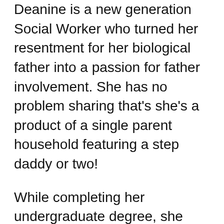Deanine is a new generation Social Worker who turned her resentment for her biological father into a passion for father involvement. She has no problem sharing that's she's a product of a single parent household featuring a step daddy or two!
While completing her undergraduate degree, she worked with victims of domestic violence, allowing the opportunity to uplift women when they felt their lowest. She later went on to obtain her Masters degree before stepping foot into the world of Philadelphia family court, specifically adoptions. Over the years she's found herself in countless situations where fathers were mishandled simple because they were fathers, all of which played a role in why she considers